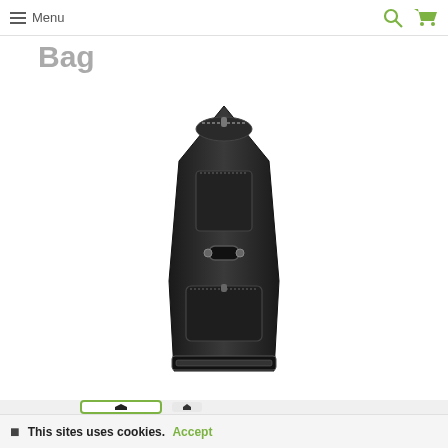Menu
Bag
[Figure (photo): A black guitar gig bag / carry case standing upright, showing zipper pockets and a handle, on a white background]
This sites uses cookies. Accept